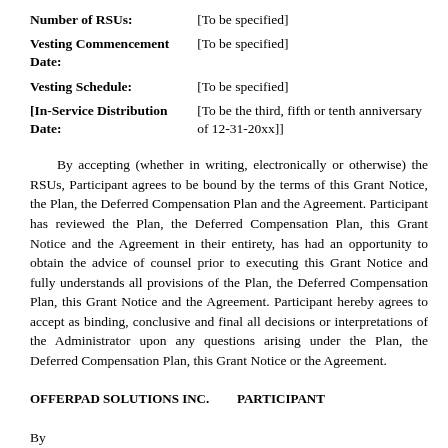| Number of RSUs: | [To be specified] |
| Vesting Commencement Date: | [To be specified] |
| Vesting Schedule: | [To be specified] |
| [In-Service Distribution Date: | [To be the third, fifth or tenth anniversary of 12-31-20xx]] |
By accepting (whether in writing, electronically or otherwise) the RSUs, Participant agrees to be bound by the terms of this Grant Notice, the Plan, the Deferred Compensation Plan and the Agreement. Participant has reviewed the Plan, the Deferred Compensation Plan, this Grant Notice and the Agreement in their entirety, has had an opportunity to obtain the advice of counsel prior to executing this Grant Notice and fully understands all provisions of the Plan, the Deferred Compensation Plan, this Grant Notice and the Agreement. Participant hereby agrees to accept as binding, conclusive and final all decisions or interpretations of the Administrator upon any questions arising under the Plan, the Deferred Compensation Plan, this Grant Notice or the Agreement.
OFFERPAD SOLUTIONS INC.          PARTICIPANT
By